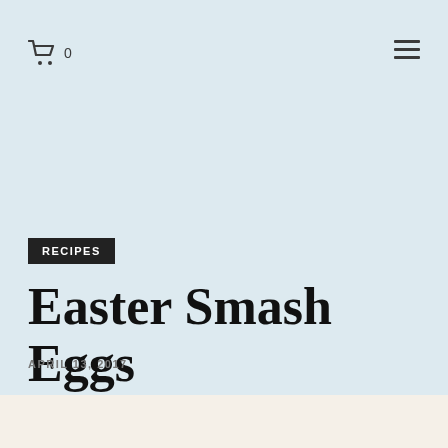0
RECIPES
Easter Smash Eggs
APRIL 13, 2017